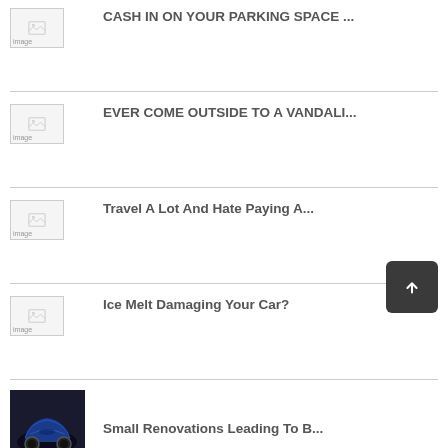CASH IN ON YOUR PARKING SPACE ...
EVER COME OUTSIDE TO A VANDALI...
Travel A Lot And Hate Paying A...
Ice Melt Damaging Your Car?
Small Renovations Leading To B...